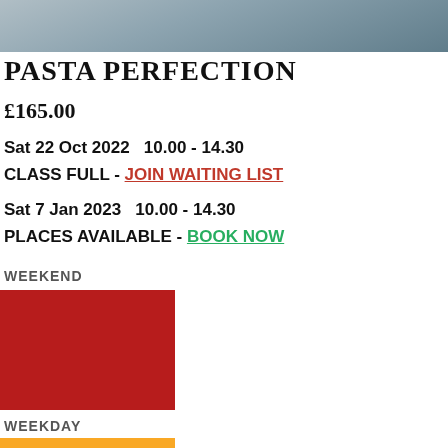[Figure (photo): Top portion of a food/cooking photo, cropped, showing metallic or food surface in grey-blue tones]
PASTA PERFECTION
£165.00
Sat 22 Oct 2022   10.00 - 14.30
CLASS FULL - JOIN WAITING LIST
Sat 7 Jan 2023   10.00 - 14.30
PLACES AVAILABLE - BOOK NOW
WEEKEND
[Figure (illustration): Red color swatch block]
WEEKDAY
[Figure (illustration): Yellow/gold color swatch block]